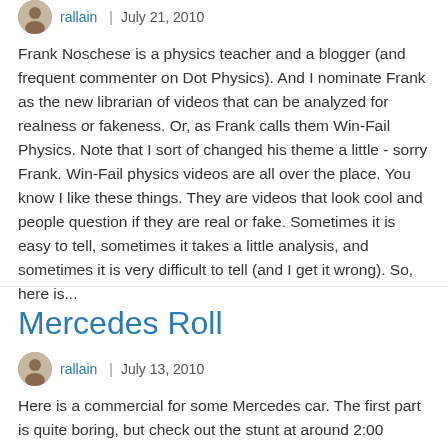rallain | July 21, 2010
Frank Noschese is a physics teacher and a blogger (and frequent commenter on Dot Physics). And I nominate Frank as the new librarian of videos that can be analyzed for realness or fakeness. Or, as Frank calls them Win-Fail Physics. Note that I sort of changed his theme a little - sorry Frank. Win-Fail physics videos are all over the place. You know I like these things. They are videos that look cool and people question if they are real or fake. Sometimes it is easy to tell, sometimes it takes a little analysis, and sometimes it is very difficult to tell (and I get it wrong). So, here is...
Mercedes Roll
rallain | July 13, 2010
Here is a commercial for some Mercedes car. The first part is quite boring, but check out the stunt at around 2:00 minutes into the video. I haven't bothered to check if this is officially fake or not. Instead, I will do what I do - see if this is even feasible. The common question people ask when they see something like this is: "how does the car defy gravity?" Well, it doesn't. Why doesn't